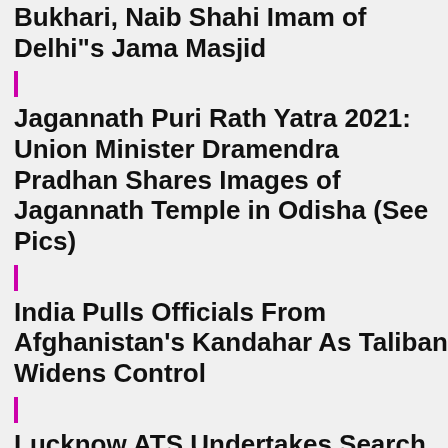Bukhari, Naib Shahi Imam of Delhi"s Jama Masjid
Jagannath Puri Rath Yatra 2021: Union Minister Dramendra Pradhan Shares Images of Jagannath Temple in Odisha (See Pics)
India Pulls Officials From Afghanistan's Kandahar As Taliban Widens Control
Lucknow ATS Undertakes Search Operation in Kakori